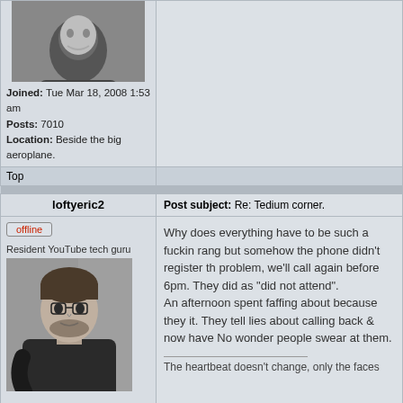[Figure (photo): Black and white photo of a man in dark shirt, upper section (cropped at top)]
Joined: Tue Mar 18, 2008 1:53 am
Posts: 7010
Location: Beside the big aeroplane.
Top
loftyeric2
Post subject: Re: Tedium corner.
[Figure (photo): offline button label]
Resident YouTube tech guru
[Figure (photo): Black and white photo of a man in dark shirt]
Joined: Tue Mar 18, 2008 1:53 am
Posts: 7010
Location: Beside the big aeroplane.
Why does everything have to be such a fuckin rang but somehow the phone didn't register th problem, we'll call again before 6pm. They did as "did not attend".
An afternoon spent faffing about because they it. They tell lies about calling back & now have No wonder people swear at them.
The heartbeat doesn't change, only the faces